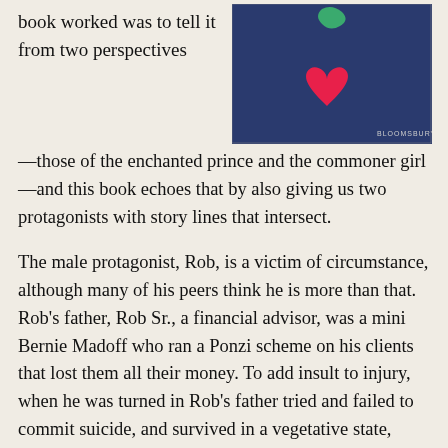book worked was to tell it from two perspectives
[Figure (photo): Book cover with a dark blue background featuring paper cutouts of a green shape and a pink/red heart, with 'BLOOMSBURY' text visible in the lower right.]
—those of the enchanted prince and the commoner girl—and this book echoes that by also giving us two protagonists with story lines that intersect.
The male protagonist, Rob, is a victim of circumstance, although many of his peers think he is more than that. Rob's father, Rob Sr., a financial advisor, was a mini Bernie Madoff who ran a Ponzi scheme on his clients that lost them all their money. To add insult to injury, when he was turned in Rob's father tried and failed to commit suicide, and survived in a vegetative state, needing constant care from his now destitute wife and son. Rob had been working as an intern in his father's company when all this transpired, and despite his protestations of